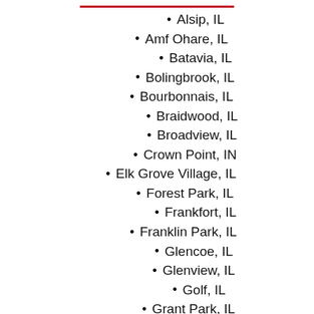Alsip, IL
Amf Ohare, IL
Batavia, IL
Bolingbrook, IL
Bourbonnais, IL
Braidwood, IL
Broadview, IL
Crown Point, IN
Elk Grove Village, IL
Forest Park, IL
Frankfort, IL
Franklin Park, IL
Glencoe, IL
Glenview, IL
Golf, IL
Grant Park, IL
Herscher, IL
Highland Park, IL
Highland, IN
Hillside, IL